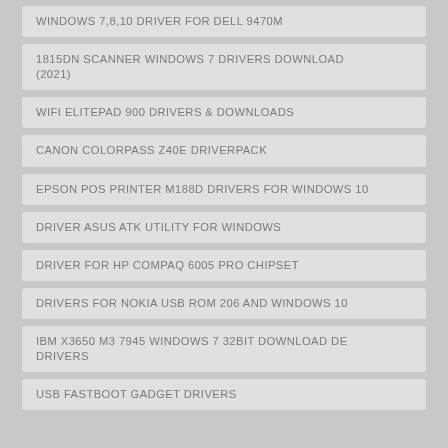WINDOWS 7,8,10 DRIVER FOR DELL 9470M
1815DN SCANNER WINDOWS 7 DRIVERS DOWNLOAD (2021)
WIFI ELITEPAD 900 DRIVERS & DOWNLOADS
CANON COLORPASS Z40E DRIVERPACK
EPSON POS PRINTER M188D DRIVERS FOR WINDOWS 10
DRIVER ASUS ATK UTILITY FOR WINDOWS
DRIVER FOR HP COMPAQ 6005 PRO CHIPSET
DRIVERS FOR NOKIA USB ROM 206 AND WINDOWS 10
IBM X3650 M3 7945 WINDOWS 7 32BIT DOWNLOAD DE DRIVERS
USB FASTBOOT GADGET DRIVERS